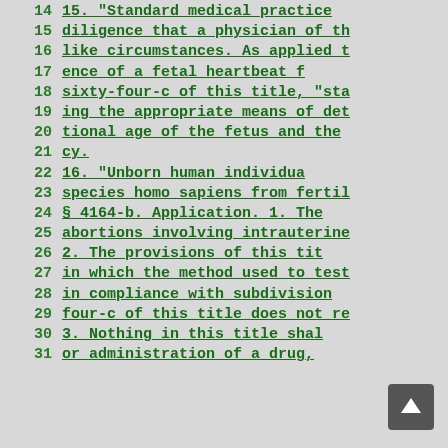14    15. "Standard medical practice
15    diligence that a physician of th
16    like circumstances. As applied t
17    ence of a fetal heartbeat f
18    sixty-four-c of this title, "sta
19    ing the appropriate means of det
20    tional age of the fetus and the
21    cy.
22    16. "Unborn human individua
23    species homo sapiens from fertil
24    § 4164-b. Application. 1. The
25    abortions involving intrauterine
26    2. The provisions of this tit
27    in which the method used to test
28    in compliance with subdivision
29    four-c of this title does not re
30    3. Nothing in this title shal
31    or administration of a drug,